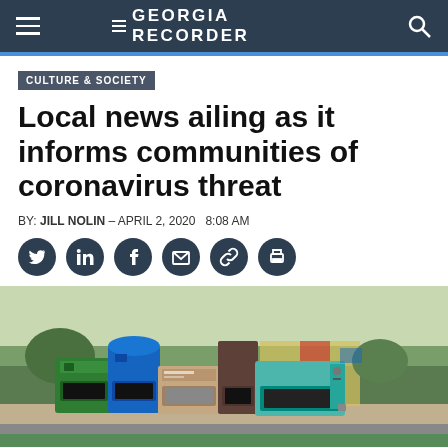GEORGIA RECORDER
CULTURE & SOCIETY
Local news ailing as it informs communities of coronavirus threat
BY: JILL NOLIN - APRIL 2, 2020  8:08 AM
[Figure (photo): Row of newspaper vending boxes/kiosks on a sidewalk outdoors, various colors including green, blue, brown, and teal, with trees and a yellow building in the background.]